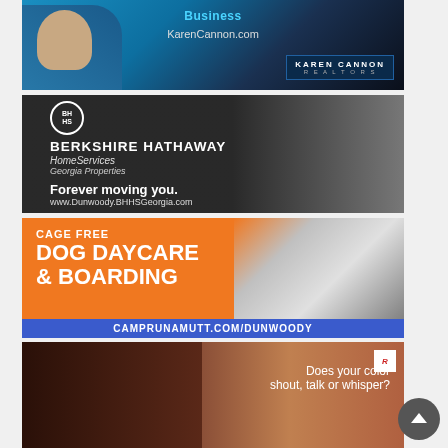[Figure (advertisement): Karen Cannon Realtors advertisement showing a blonde woman in dark clothing against a blue and dark background. Shows text 'Business' at top, 'KarenCannon.com' website, and Karen Cannon Realtors logo.]
[Figure (advertisement): Berkshire Hathaway HomeServices Georgia Properties advertisement with dark interior background. Shows circular BH/HS logo, company name, tagline 'Forever moving you.' and URL 'www.Dunwoody.BHHSGeorgia.com'.]
[Figure (advertisement): Camp Run A Mutt dog daycare advertisement on orange background. Shows 'CAGE FREE', 'DOG DAYCARE & BOARDING' in large white bold text, photo of French Bulldog, and blue bar with 'CAMPRUNAMUTT.COM/DUNWOODY'.]
[Figure (advertisement): Hair salon advertisement featuring a woman with long red hair against a warm bokeh background. Shows Realtor R logo in top right corner and text 'Does your color shout, talk or whisper?'.]